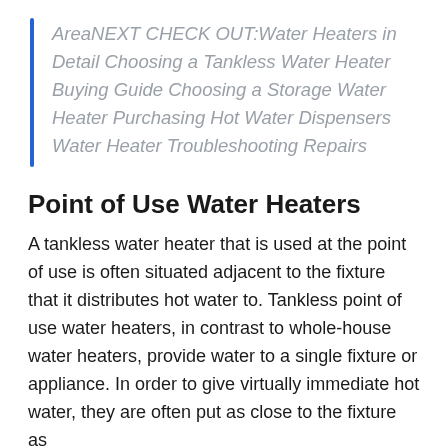AreaNEXT CHECK OUT:Water Heaters in Detail Choosing a Tankless Water Heater Buying Guide Choosing a Storage Water Heater Purchasing Hot Water Dispensers Water Heater Troubleshooting Repairs
Point of Use Water Heaters
A tankless water heater that is used at the point of use is often situated adjacent to the fixture that it distributes hot water to. Tankless point of use water heaters, in contrast to whole-house water heaters, provide water to a single fixture or appliance. In order to give virtually immediate hot water, they are often put as close to the fixture as